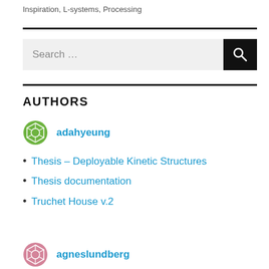Inspiration, L-systems, Processing
[Figure (other): Search bar with search button icon]
AUTHORS
[Figure (logo): Green geometric avatar icon for adahyeung]
adahyeung
Thesis – Deployable Kinetic Structures
Thesis documentation
Truchet House v.2
[Figure (logo): Pink/red geometric avatar icon for agneslundberg]
agneslundberg